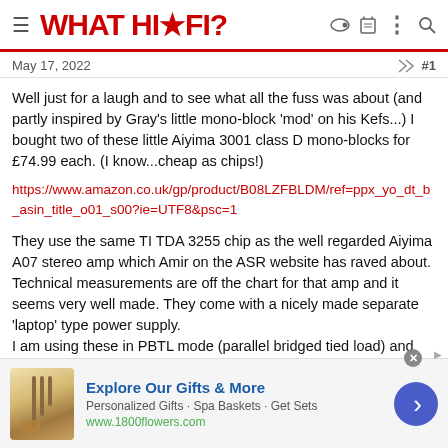WHAT HI-FI?
May 17, 2022   #1
Well just for a laugh and to see what all the fuss was about (and partly inspired by Gray's little mono-block 'mod' on his Kefs...) I bought two of these little Aiyima 3001 class D mono-blocks for £74.99 each. (I know...cheap as chips!)
https://www.amazon.co.uk/gp/product/B08LZFBLDM/ref=ppx_yo_dt_b_asin_title_o01_s00?ie=UTF8&psc=1
They use the same TI TDA 3255 chip as the well regarded Aiyima A07 stereo amp which Amir on the ASR website has raved about. Technical measurements are off the chart for that amp and it seems very well made. They come with a nicely made separate 'laptop' type power supply.
I am using these in PBTL mode (parallel bridged tied load) and
[Figure (other): Advertisement banner: Explore Our Gifts & More - Personalized Gifts - Spa Baskets - Get Sets - www.1800flowers.com]